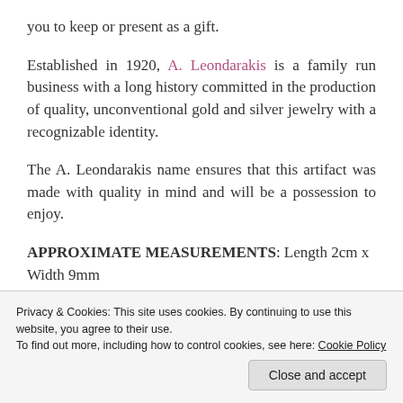you to keep or present as a gift.
Established in 1920, A. Leondarakis is a family run business with a long history committed in the production of quality, unconventional gold and silver jewelry with a recognizable identity.
The A. Leondarakis name ensures that this artifact was made with quality in mind and will be a possession to enjoy.
APPROXIMATE MEASUREMENTS: Length 2cm x Width 9mm (0.78" - 0.35")
Privacy & Cookies: This site uses cookies. By continuing to use this website, you agree to their use. To find out more, including how to control cookies, see here: Cookie Policy
Close and accept